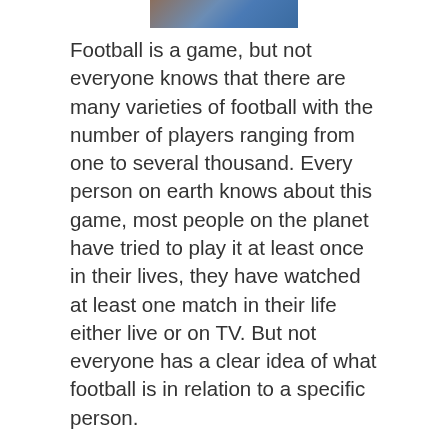[Figure (photo): Partial photo of a person at the top of the page, cropped]
Football is a game, but not everyone knows that there are many varieties of football with the number of players ranging from one to several thousand. Every person on earth knows about this game, most people on the planet have tried to play it at least once in their lives, they have watched at least one match in their life either live or on TV. But not everyone has a clear idea of what football is in relation to a specific person.
About us
Contact
Privacy Policy & Cookies